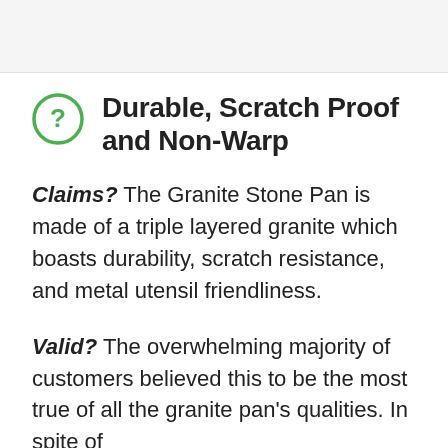[Figure (illustration): Grey top bar / header area at top of page]
Durable, Scratch Proof and Non-Warp
Claims? The Granite Stone Pan is made of a triple layered granite which boasts durability, scratch resistance, and metal utensil friendliness.
Valid? The overwhelming majority of customers believed this to be the most true of all the granite pan's qualities. In spite of